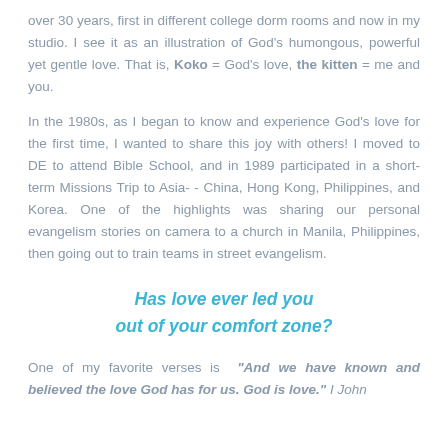over 30 years, first in different college dorm rooms and now in my studio. I see it as an illustration of God’s humongous, powerful yet gentle love. That is, Koko = God’s love, the kitten = me and you.
In the 1980s, as I began to know and experience God’s love for the first time, I wanted to share this joy with others! I moved to DE to attend Bible School, and in 1989 participated in a short-term Missions Trip to Asia-- China, Hong Kong, Philippines, and Korea. One of the highlights was sharing our personal evangelism stories on camera to a church in Manila, Philippines, then going out to train teams in street evangelism.
Has love ever led you out of your comfort zone?
One of my favorite verses is “And we have known and believed the love God has for us. God is love.” I John